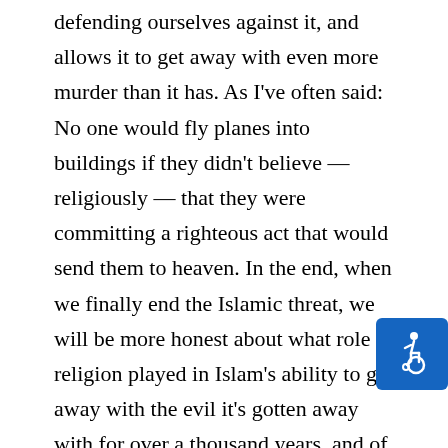defending ourselves against it, and allows it to get away with even more murder than it has. As I've often said: No one would fly planes into buildings if they didn't believe — religiously — that they were committing a righteous act that would send them to heaven. In the end, when we finally end the Islamic threat, we will be more honest about what role religion played in Islam's ability to get away with the evil it's gotten away with for over a thousand years, and of our unwillingness and inability to deal with it when it came for us. If Islam weren't a religion, then it would not have lasted as long as it has, and it wouldn't be defended as it is by its would-be victims. And that's a fact that we need to observe and think about, very seriously, instead of
[Figure (illustration): Accessibility icon — white wheelchair user symbol on a blue square background, positioned in the lower-right area of the page.]